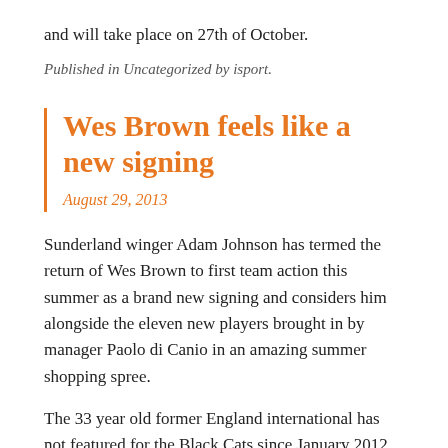and will take place on 27th of October.
Published in Uncategorized by isport.
Wes Brown feels like a new signing
August 29, 2013
Sunderland winger Adam Johnson has termed the return of Wes Brown to first team action this summer as a brand new signing and considers him alongside the eleven new players brought in by manager Paolo di Canio in an amazing summer shopping spree.
The 33 year old former England international has not featured for the Black Cats since January 2012